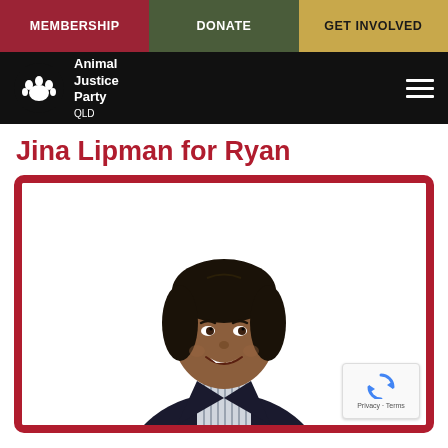MEMBERSHIP | DONATE | GET INVOLVED
[Figure (logo): Animal Justice Party QLD logo — white text and animal paw icon on black background with hamburger menu icon]
Jina Lipman for Ryan
[Figure (photo): Portrait photo of Jina Lipman, a smiling woman with dark shoulder-length hair wearing a dark blazer and striped shirt, set inside a red-bordered rounded rectangle frame on a white background]
Privacy · Terms